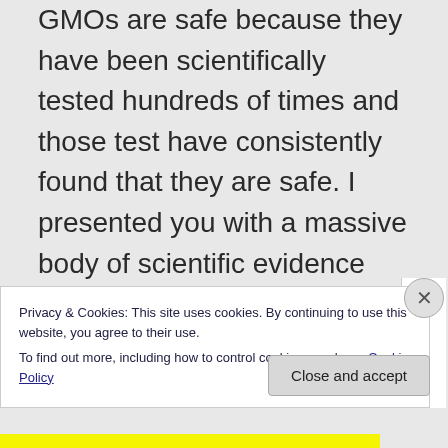GMOs are safe because they have been scientifically tested hundreds of times and those test have consistently found that they are safe. I presented you with a massive body of scientific evidence which you are totally
Privacy & Cookies: This site uses cookies. By continuing to use this website, you agree to their use.
To find out more, including how to control cookies, see here: Cookie Policy
Close and accept